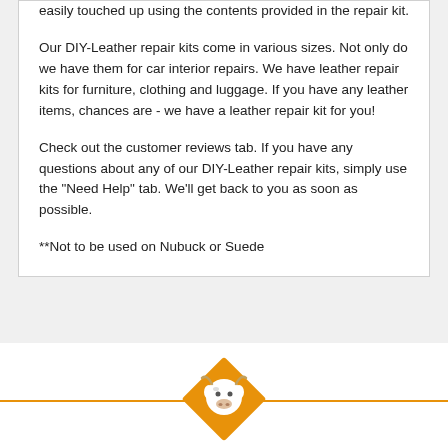easily touched up using the contents provided in the repair kit.
Our DIY-Leather repair kits come in various sizes. Not only do we have them for car interior repairs. We have leather repair kits for furniture, clothing and luggage. If you have any leather items, chances are - we have a leather repair kit for you!
Check out the customer reviews tab. If you have any questions about any of our DIY-Leather repair kits, simply use the "Need Help" tab. We'll get back to you as soon as possible.
**Not to be used on Nubuck or Suede
[Figure (logo): Orange diamond-shaped logo with a white cow face illustration, DIY-Leather brand logo]